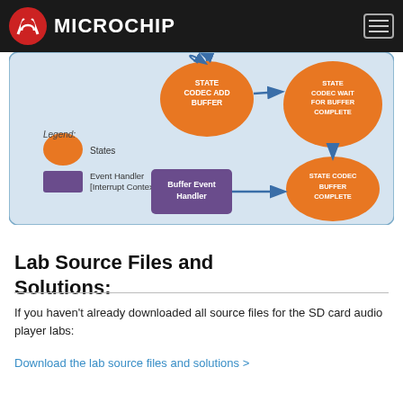Microchip
[Figure (flowchart): State machine diagram showing STATE CODEC ADD BUFFER, STATE CODEC WAIT FOR BUFFER COMPLETE, STATE CODEC BUFFER COMPLETE nodes (orange circles) connected by arrows, plus a Buffer Event Handler purple rectangle. Legend shows orange circle = States, purple rectangle = Event Handler [Interrupt Context].]
Lab Source Files and Solutions:
If you haven't already downloaded all source files for the SD card audio player labs:
Download the lab source files and solutions >